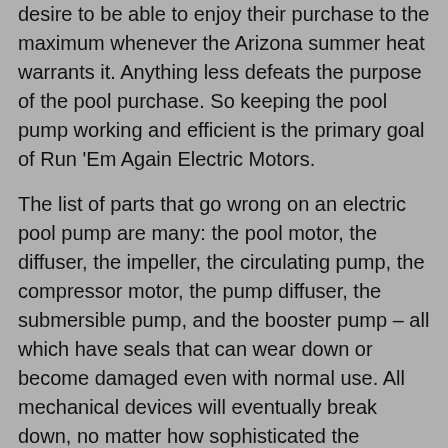desire to be able to enjoy their purchase to the maximum whenever the Arizona summer heat warrants it. Anything less defeats the purpose of the pool purchase. So keeping the pool pump working and efficient is the primary goal of Run 'Em Again Electric Motors.
The list of parts that go wrong on an electric pool pump are many: the pool motor, the diffuser, the impeller, the circulating pump, the compressor motor, the pump diffuser, the submersible pump, and the booster pump – all which have seals that can wear down or become damaged even with normal use. All mechanical devices will eventually break down, no matter how sophisticated the technology. This means that for the owners of swimming pools they need to have an annual maintenance plan in place or need to know what to look for when something is going wrong. But ask yourself how many people can successfully assess the current mechanical state of their pool pump.
As with any home system, having a periodic maintenance check performed on the system is essential to prolong it